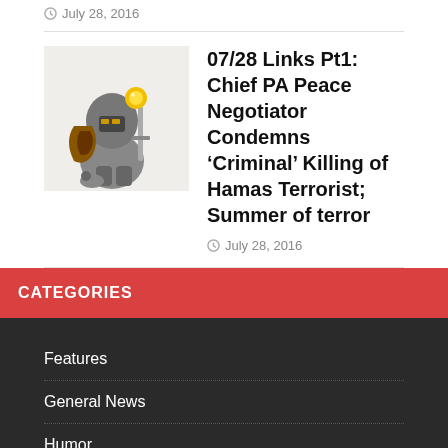July 28, 2016
[Figure (illustration): Cartoon illustration of a figure in armor/knight costume]
07/28 Links Pt1: Chief PA Peace Negotiator Condemns ‘Criminal’ Killing of Hamas Terrorist; Summer of terror
July 28, 2016
CATEGORIES
Features
General News
Humor
Linkdumps
news
Opinion